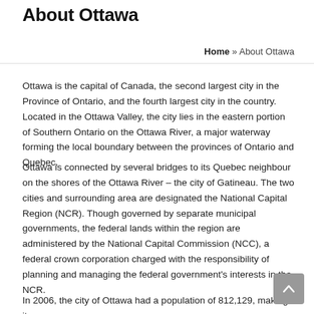About Ottawa
Home » About Ottawa
Ottawa is the capital of Canada, the second largest city in the Province of Ontario, and the fourth largest city in the country. Located in the Ottawa Valley, the city lies in the eastern portion of Southern Ontario on the Ottawa River, a major waterway forming the local boundary between the provinces of Ontario and Quebec.
Ottawa is connected by several bridges to its Quebec neighbour on the shores of the Ottawa River – the city of Gatineau. The two cities and surrounding area are designated the National Capital Region (NCR). Though governed by separate municipal governments, the federal lands within the region are administered by the National Capital Commission (NCC), a federal crown corporation charged with the responsibility of planning and managing the federal government's interests in the NCR.
In 2006, the city of Ottawa had a population of 812,129, making it